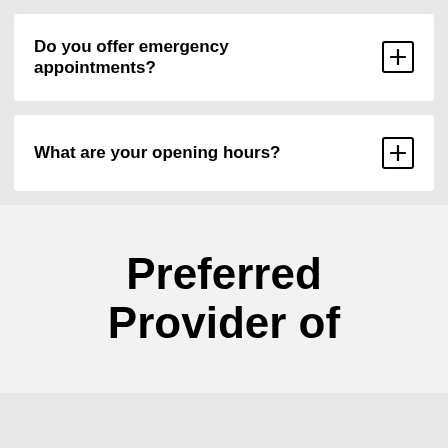Do you offer emergency appointments?
What are your opening hours?
Preferred Provider of